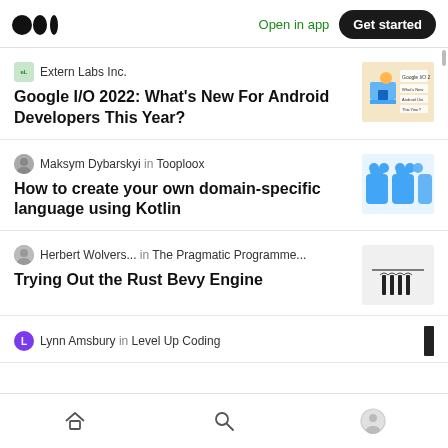Medium logo | Open in app | Get started
Extern Labs Inc. — Google I/O 2022: What's New For Android Developers This Year?
Maksym Dybarskyi in Tooploox — How to create your own domain-specific language using Kotlin
Herbert Wolvers... in The Pragmatic Programme... — Trying Out the Rust Bevy Engine
Lynn Amsbury in Level Up Coding
Bottom navigation: Home, Search, Profile